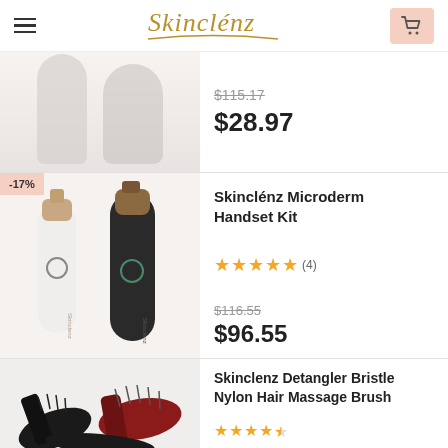Skinclénz
$115.17 (strikethrough) $28.97
Skinclénz Microderm Handset Kit
4.5 stars (4) $116.55 (strikethrough) $96.55
Skinclenz Detangler Bristle Nylon Hair Massage Brush
[Figure (photo): Product photo of Skinclénz Microderm Handset Kit - white and black handheld devices]
[Figure (photo): Product photo of Skinclenz Detangler Bristle Nylon Hair Massage Brush - multiple brushes]